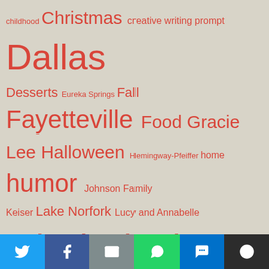[Figure (infographic): Tag cloud with various topic tags in different font sizes, all in red/coral color on a beige/tan background. Tags include: childhood, Christmas, creative writing prompt, Dallas, Desserts, Eureka Springs, Fall, Fayetteville, Food, Gracie Lee, Halloween, Hemingway-Pfeiffer, home, humor, Johnson Family, Keiser, Lake Norfork, Lucy and Annabelle, Mississippi County, Mississippi Delta, moving, Munger Place, Nana, nature, Northeast Arkansas, Northwest Arkansas, Osceola, poem, Reading, Schnauzer, simple living, simple things, spring, spring gardening, Summer, sunday letter, Talya Tate Boerner novel, The Accidental Salvation of Gracie Lee, Thomas Tate, Winter, Wordless Wednesday]
[Figure (infographic): Social sharing bar at the bottom with buttons for Twitter, Facebook, Email, WhatsApp, SMS, and More options]